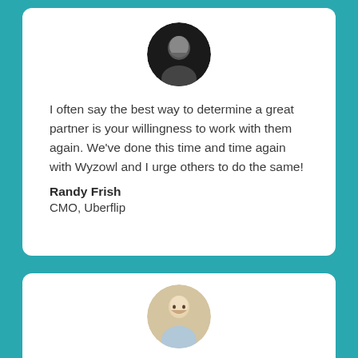[Figure (photo): Circular profile photo of Randy Frish, dark background, black and white]
I often say the best way to determine a great partner is your willingness to work with them again. We've done this time and time again with Wyzowl and I urge others to do the same!
Randy Frish
CMO, Uberflip
[Figure (photo): Circular profile photo of a man in light blue shirt, warm background]
We wanted to open the window to our site without people having to register or make a commitment. Tools